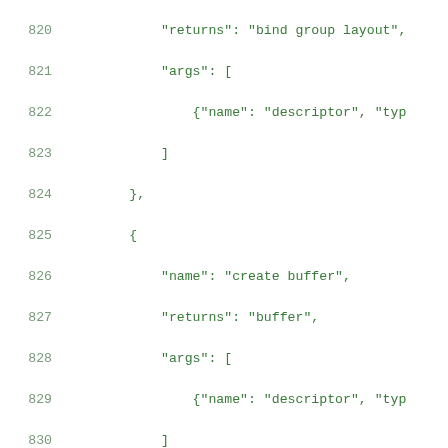Code listing lines 820-841 showing JSON structure with name, returns, args, and tags fields for create buffer, create error buffer, and create command encoder entries